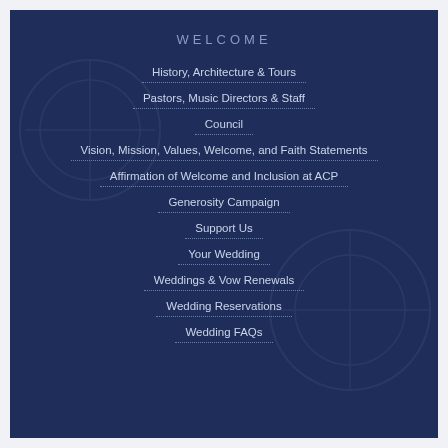WELCOME
History, Architecture & Tours
Pastors, Music Directors & Staff
Council
Vision, Mission, Values, Welcome, and Faith Statements
Affirmation of Welcome and Inclusion at ACP
Generosity Campaign
Support Us
Your Wedding
Weddings & Vow Renewals
Wedding Reservations
Wedding FAQs